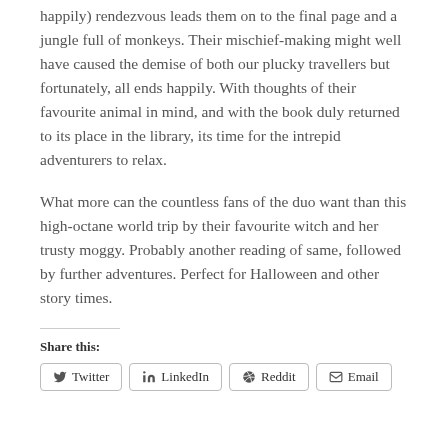happily) rendezvous leads them on to the final page and a jungle full of monkeys. Their mischief-making might well have caused the demise of both our plucky travellers but fortunately, all ends happily. With thoughts of their favourite animal in mind, and with the book duly returned to its place in the library, its time for the intrepid adventurers to relax.
What more can the countless fans of the duo want than this high-octane world trip by their favourite witch and her trusty moggy. Probably another reading of same, followed by further adventures. Perfect for Halloween and other story times.
Share this:
Twitter   LinkedIn   Reddit   Email